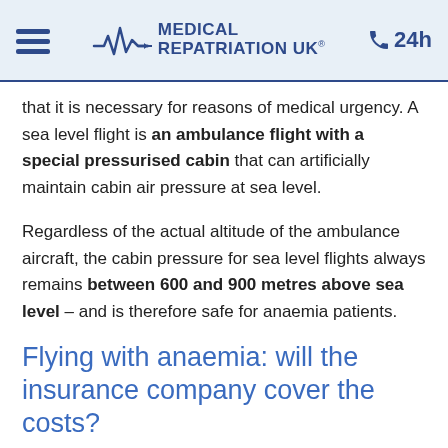Medical Repatriation UK — 24h
that it is necessary for reasons of medical urgency. A sea level flight is an ambulance flight with a special pressurised cabin that can artificially maintain cabin air pressure at sea level.
Regardless of the actual altitude of the ambulance aircraft, the cabin pressure for sea level flights always remains between 600 and 900 metres above sea level – and is therefore safe for anaemia patients.
Flying with anaemia: will the insurance company cover the costs?